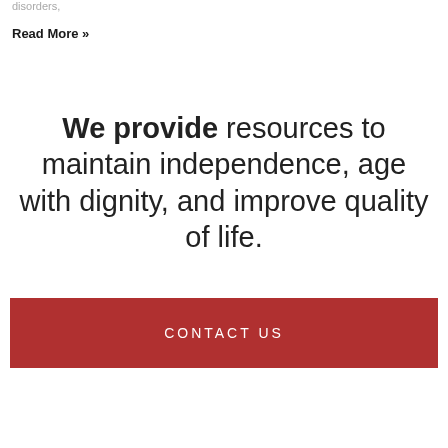disorders,
Read More »
We provide resources to maintain independence, age with dignity, and improve quality of life.
CONTACT US